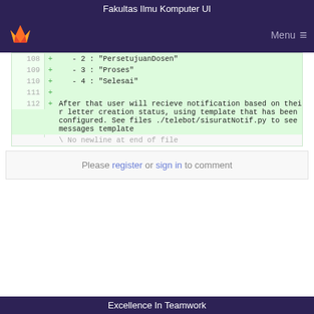Fakultas Ilmu Komputer UI
[Figure (screenshot): GitLab navigation bar with fox logo and Menu icon on dark purple background]
108 + - 2 : "PersetujuanDosen"
109 + - 3 : "Proses"
110 + - 4 : "Selesai"
111 +
112 + After that user will recieve notification based on their letter creation status, using template that has been configured. See files ./telebot/sisuratNotif.py to see messages template
\ No newline at end of file
Please register or sign in to comment
Excellence In Teamwork